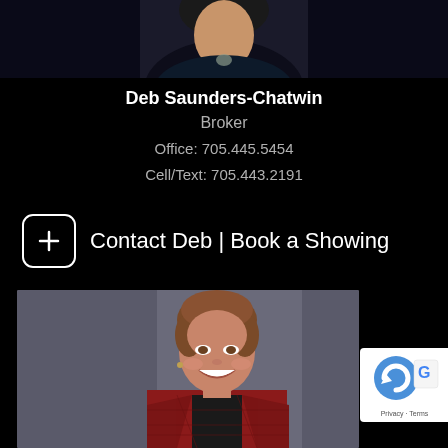[Figure (photo): Top partial photo of a woman with dark top on dark background, cropped at shoulders]
Deb Saunders-Chatwin
Broker
Office: 705.445.5454
Cell/Text: 705.443.2191
Contact Deb | Book a Showing
[Figure (photo): Professional headshot of a smiling woman with short brown hair wearing a red plaid jacket over black, on a gray background]